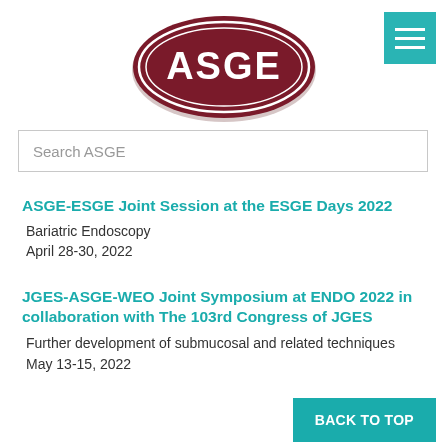[Figure (logo): ASGE oval logo — dark red/maroon oval with white inner oval outline and white text 'ASGE' in large bold letters]
[Figure (other): Teal hamburger menu button (three horizontal white bars on teal background) in top-right corner]
Search ASGE
ASGE-ESGE Joint Session at the ESGE Days 2022
Bariatric Endoscopy
April 28-30, 2022
JGES-ASGE-WEO Joint Symposium at ENDO 2022 in collaboration with The 103rd Congress of JGES
Further development of submucosal and related techniques
May 13-15, 2022
BACK TO TOP